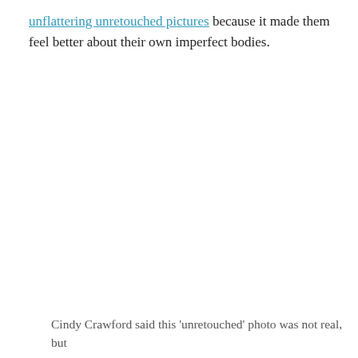unflattering unretouched pictures because it made them feel better about their own imperfect bodies.
Cindy Crawford said this 'unretouched' photo was not real, but